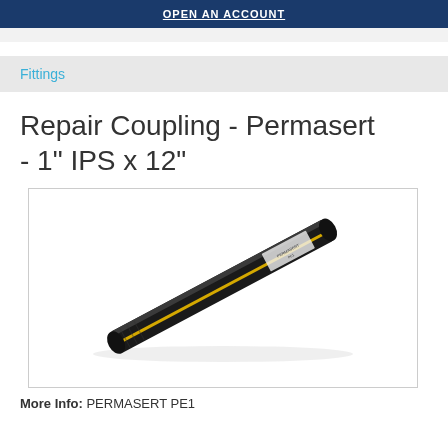OPEN AN ACCOUNT
Fittings
Repair Coupling - Permasert - 1" IPS x 12"
[Figure (photo): Photo of a Permasert repair coupling fitting — a long black cylindrical pipe fitting with yellow stripe and label, approximately 12 inches long, shown diagonally on white background.]
More Info: PERMASERT PE1